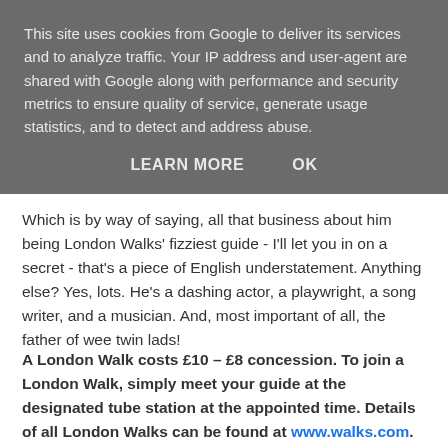This site uses cookies from Google to deliver its services and to analyze traffic. Your IP address and user-agent are shared with Google along with performance and security metrics to ensure quality of service, generate usage statistics, and to detect and address abuse.
LEARN MORE    OK
Which is by way of saying, all that business about him being London Walks’ fizziest guide - I'll let you in on a secret - that's a piece of English understatement. Anything else? Yes, lots. He's a dashing actor, a playwright, a song writer, and a musician. And, most important of all, the father of wee twin lads!
A London Walk costs £10 – £8 concession. To join a London Walk, simply meet your guide at the designated tube station at the appointed time. Details of all London Walks can be found at www.walks.com.